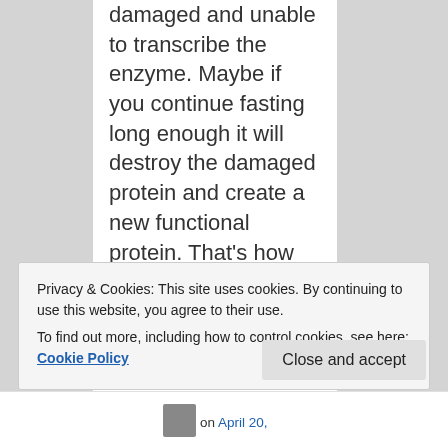damaged and unable to transcribe the enzyme. Maybe if you continue fasting long enough it will destroy the damaged protein and create a new functional protein. That's how my lactose intolerance got reversed. However it did take a long time to heal.
Privacy & Cookies: This site uses cookies. By continuing to use this website, you agree to their use.
To find out more, including how to control cookies, see here: Cookie Policy
Close and accept
on April 20,